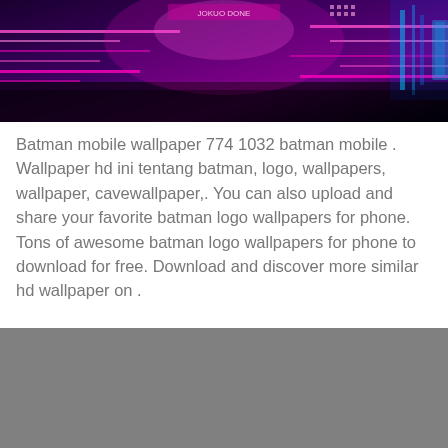[Figure (photo): Batman themed digital wallpaper with pink, purple and blue circuit board / electronic patterns and glowing elements on a dark background]
Batman mobile wallpaper 774 1032 batman mobile . Wallpaper hd ini tentang batman, logo, wallpapers, wallpaper, cavewallpaper,. You can also upload and share your favorite batman logo wallpapers for phone. Tons of awesome batman logo wallpapers for phone to download for free. Download and discover more similar hd wallpaper on .
[Figure (photo): Gray/blank placeholder image area at the bottom of the page]